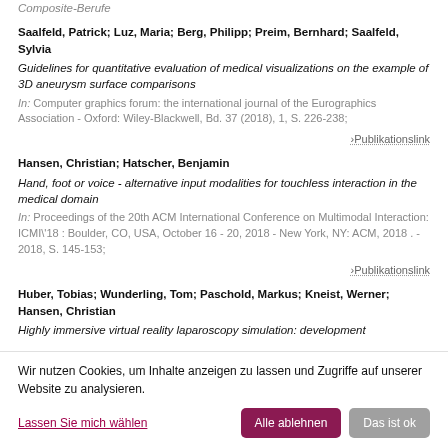Composite-Berufe
Saalfeld, Patrick;  Luz, Maria;  Berg, Philipp;  Preim, Bernhard;  Saalfeld, Sylvia
Guidelines for quantitative evaluation of medical visualizations on the example of 3D aneurysm surface comparisons
In: Computer graphics forum: the international journal of the Eurographics Association - Oxford: Wiley-Blackwell, Bd. 37 (2018), 1, S. 226-238;
›Publikationslink
Hansen, Christian;  Hatscher, Benjamin
Hand, foot or voice - alternative input modalities for touchless interaction in the medical domain
In: Proceedings of the 20th ACM International Conference on Multimodal Interaction: ICMI'18 : Boulder, CO, USA, October 16 - 20, 2018 - New York, NY: ACM, 2018 . - 2018, S. 145-153;
›Publikationslink
Huber, Tobias;  Wunderling, Tom;  Paschold, Markus;  Kneist, Werner;  Hansen, Christian
Highly immersive virtual reality laparoscopy simulation: development
Wir nutzen Cookies, um Inhalte anzeigen zu lassen und Zugriffe auf unserer Website zu analysieren.
Lassen Sie mich wählen
Alle ablehnen
Das ist ok